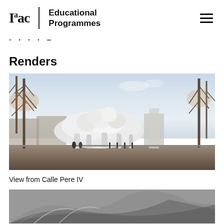Iaac | Educational Programmes
· · · · –
Renders
[Figure (photo): Architectural render of a futuristic organic-shaped white building with flowing curved forms, surrounded by bare autumn trees, viewed from a street level perspective.]
View from Calle Pere IV
[Figure (photo): Partial architectural render showing curved structural elements, bottom portion of image visible.]